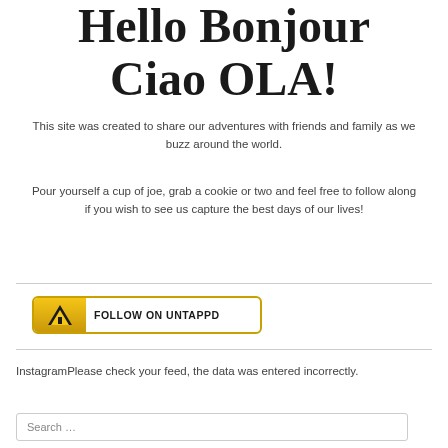Hello Bonjour Ciao OLA!
This site was created to share our adventures with friends and family as we buzz around the world.
Pour yourself a cup of joe, grab a cookie or two and feel free to follow along if you wish to see us capture the best days of our lives!
[Figure (other): Follow on Untappd button with yellow icon and bold text]
InstagramPlease check your feed, the data was entered incorrectly.
Search ...